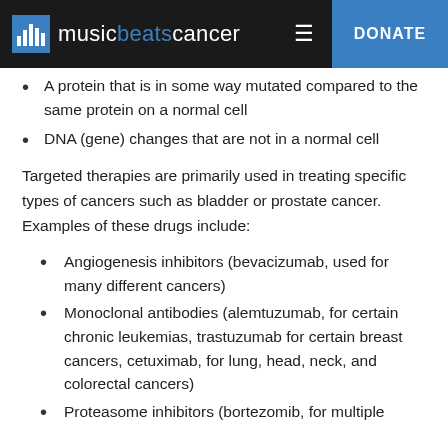music beats cancer — DONATE
A protein that is in some way mutated compared to the same protein on a normal cell
DNA (gene) changes that are not in a normal cell
Targeted therapies are primarily used in treating specific types of cancers such as bladder or prostate cancer. Examples of these drugs include:
Angiogenesis inhibitors (bevacizumab, used for many different cancers)
Monoclonal antibodies (alemtuzumab, for certain chronic leukemias, trastuzumab for certain breast cancers, cetuximab, for lung, head, neck, and colorectal cancers)
Proteasome inhibitors (bortezomib, for multiple